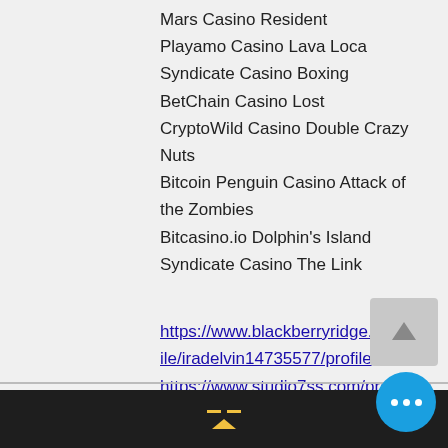Mars Casino Resident
Playamo Casino Lava Loca
Syndicate Casino Boxing
BetChain Casino Lost
CryptoWild Casino Double Crazy Nuts
Bitcoin Penguin Casino Attack of the Zombies
Bitcasino.io Dolphin's Island
Syndicate Casino The Link
https://www.blackberryridge.org/profile/iradelvin14735577/profile
https://www.studio7ss.com/profile/ariannadoerner3056822/profile
https://www.martahewett.com/profile/cristobaltassin109148/profile
https://www.madplatypus.com/profile/giuseppemoghadam1611089/profile